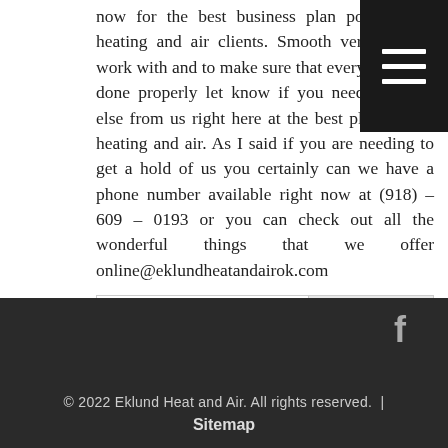now for the best business plan possible for heating and air clients. Smooth very easy to work with and to make sure that everything gets done properly let know if you need anything else from us right here at the best place to get heating and air. As I said if you are needing to get a hold of us you certainly can we have a phone number available right now at (918) – 609 – 0193 or you can check out all the wonderful things that we offer online@eklundheatandairok.com
Search
© 2022 Eklund Heat and Air. All rights reserved. | Sitemap